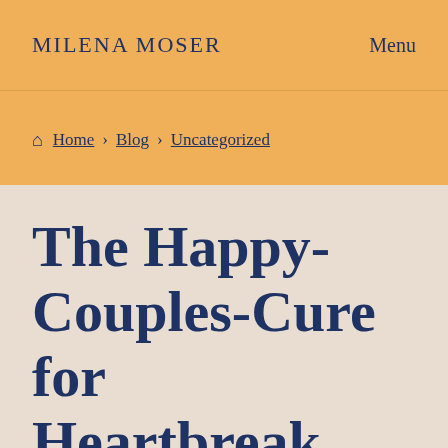MILENA MOSER   Menu
Home › Blog › Uncategorized
The Happy-Couples-Cure for Heartbreak.